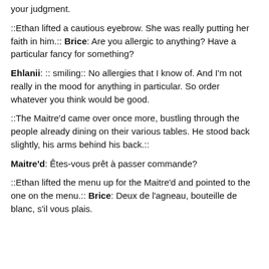your judgment.
::Ethan lifted a cautious eyebrow. She was really putting her faith in him.:: Brice: Are you allergic to anything? Have a particular fancy for something?
Ehlanii: :: smiling:: No allergies that I know of. And I'm not really in the mood for anything in particular. So order whatever you think would be good.
::The Maitre'd came over once more, bustling through the people already dining on their various tables. He stood back slightly, his arms behind his back.::
Maitre'd: Êtes-vous prêt à passer commande?
::Ethan lifted the menu up for the Maitre'd and pointed to the one on the menu.:: Brice: Deux de l'agneau, bouteille de blanc, s'il vous plais.